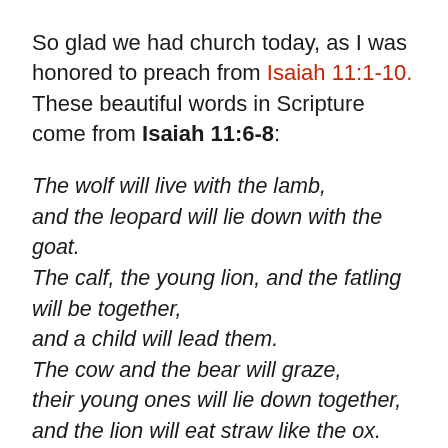So glad we had church today, as I was honored to preach from Isaiah 11:1-10. These beautiful words in Scripture come from Isaiah 11:6-8:
The wolf will live with the lamb,
and the leopard will lie down with the goat.
The calf, the young lion, and the fatling will be together,
and a child will lead them.
The cow and the bear will graze,
their young ones will lie down together,
and the lion will eat straw like the ox.
An infant will play beside the cobra's pit,